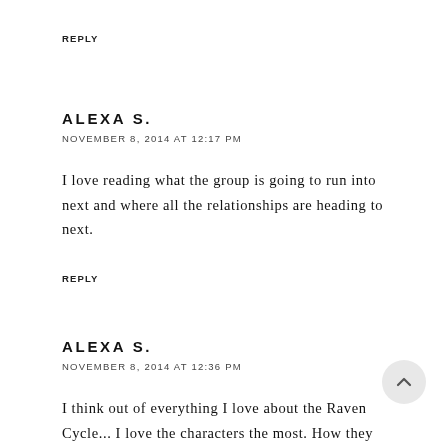REPLY
ALEXA S.
NOVEMBER 8, 2014 AT 12:17 PM
I love reading what the group is going to run into next and where all the relationships are heading to next.
REPLY
ALEXA S.
NOVEMBER 8, 2014 AT 12:36 PM
I think out of everything I love about the Raven Cycle... I love the characters the most. How they interact with one another and what you can imagine... [continues]